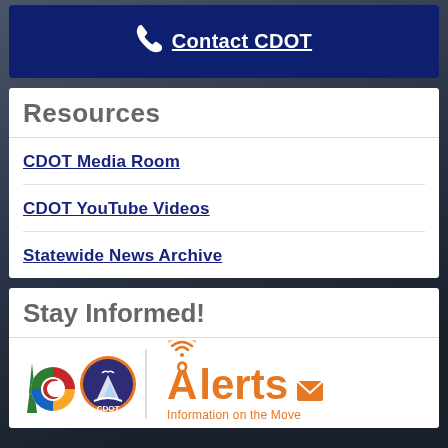Contact CDOT
Resources
CDOT Media Room
CDOT YouTube Videos
Statewide News Archive
Stay Informed!
[Figure (logo): Colorado state logo and CDOT logo alongside Alerts - Information on the Move branding with envelope icon]